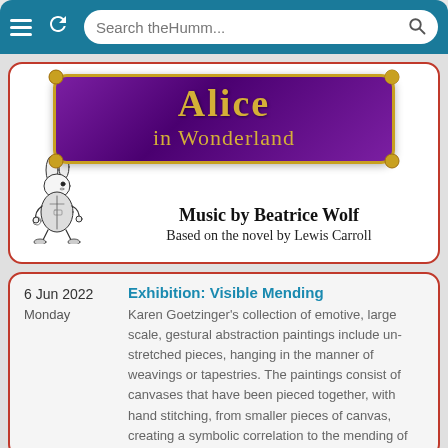[Figure (screenshot): Mobile browser chrome bar with hamburger menu, refresh button, and search field showing 'Search theHumm...']
[Figure (illustration): Alice in Wonderland promotional image: purple ornate badge with gold text reading 'Alice in Wonderland', with White Rabbit illustration on the left, and text 'Music by Beatrice Wolf' and 'Based on the novel by Lewis Carroll']
6 Jun 2022
Monday
Exhibition: Visible Mending
Karen Goetzinger's collection of emotive, large scale, gestural abstraction paintings include un-stretched pieces, hanging in the manner of weavings or tapestries. The paintings consist of canvases that have been pieced together, with hand stitching, from smaller pieces of canvas, creating a symbolic correlation to the mending of